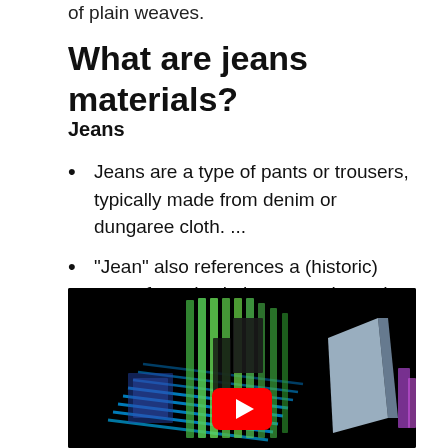of plain weaves.
What are jeans materials?
Jeans
Jeans are a type of pants or trousers, typically made from denim or dungaree cloth. ...
“Jean” also references a (historic) type of sturdy cloth commonly made with a cotton warp and wool weft (also known as “Virginia cloth”).
[Figure (screenshot): A 3D rendered animation thumbnail showing woven fabric threads in blue and green colors with a YouTube play button overlay, on a black background.]